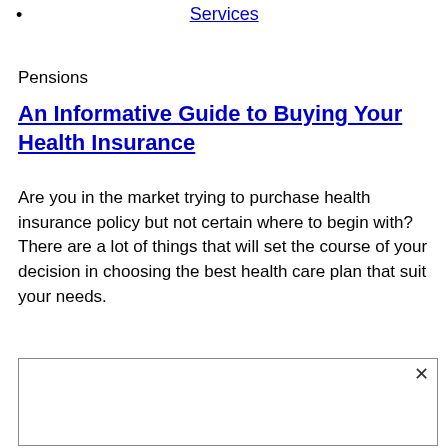Services
Pensions
An Informative Guide to Buying Your Health Insurance
Are you in the market trying to purchase health insurance policy but not certain where to begin with? There are a lot of things that will set the course of your decision in choosing the best health care plan that suit your needs.
[Figure (other): Advertisement box with close (X) button in upper right corner]